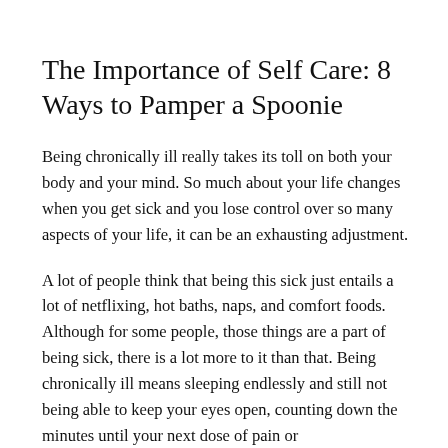The Importance of Self Care: 8 Ways to Pamper a Spoonie
Being chronically ill really takes its toll on both your body and your mind. So much about your life changes when you get sick and you lose control over so many aspects of your life, it can be an exhausting adjustment.
A lot of people think that being this sick just entails a lot of netflixing, hot baths, naps, and comfort foods. Although for some people, those things are a part of being sick, there is a lot more to it than that. Being chronically ill means sleeping endlessly and still not being able to keep your eyes open, counting down the minutes until your next dose of pain or